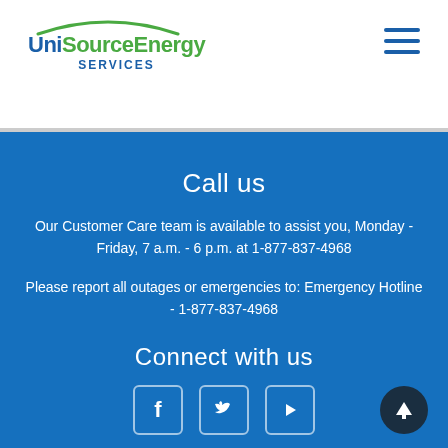UniSource Energy SERVICES
Call us
Our Customer Care team is available to assist you, Monday - Friday, 7 a.m. - 6 p.m. at 1-877-837-4968
Please report all outages or emergencies to: Emergency Hotline - 1-877-837-4968
Connect with us
[Figure (illustration): Social media icons: Facebook, Twitter, YouTube]